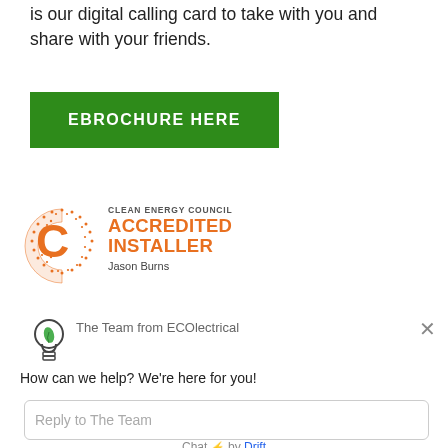is our digital calling card to take with you and share with your friends.
[Figure (other): Green button labeled EBROCHURE HERE]
[Figure (logo): Clean Energy Council Accredited Installer logo with orange C and text, name Jason Burns]
[Figure (screenshot): Chat widget from ECOlectrical with green bulb icon, message 'How can we help? We're here for you!', reply input field, and 'Chat by Drift' footer]